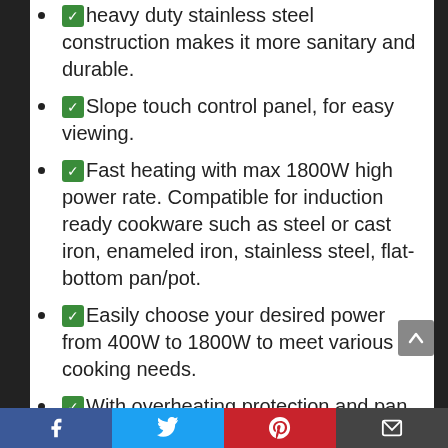Heavy duty stainless steel construction makes it more sanitary and durable.
Slope touch control panel, for easy viewing.
Fast heating with max 1800W high power rate. Compatible for induction ready cookware such as steel or cast iron, enameled iron, stainless steel, flat-bottom pan/pot.
Easily choose your desired power from 400W to 1800W to meet various cooking needs.
With overheating protection and pan detection for safety.